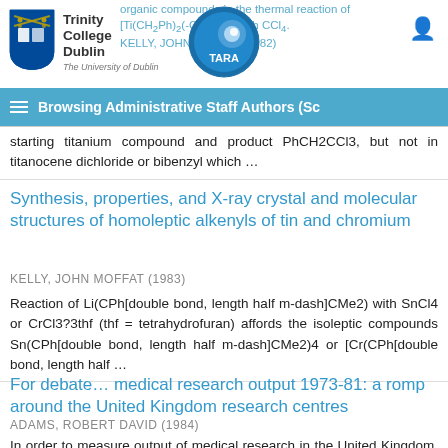Trinity College Dublin / TARA — Browsing Administrative Staff Authors (Sc...
organic compounds in the thermal reaction of [Ti(CH2Ph)2(-C5H5)2] with CCl4. KELLY, JOHN MOFFAT (1982). The thermal reaction of [Ti(CH2Ph)2(η-C5H5)2] with CCl4 in toluene starting titanium compound and product PhCH2CCl3, but not in titanocene dichloride or bibenzyl which ...
Synthesis, properties, and X-ray crystal and molecular structures of homoleptic alkenyls of tin and chromium
KELLY, JOHN MOFFAT (1983)
Reaction of Li(CPh[double bond, length half m-dash]CMe2) with SnCl4 or CrCl3?3thf (thf = tetrahydrofuran) affords the isoleptic compounds Sn(CPh[double bond, length half m-dash]CMe2)4 or [Cr(CPh[double bond, length half ...
For debate... medical research output 1973-81: a romp around the United Kingdom research centres
ADAMS, ROBERT DAVID (1984)
In order to measure output of medical research in the United Kingdom, the computerised database of Excerpta Medica was used to count the number of publications emanating from each